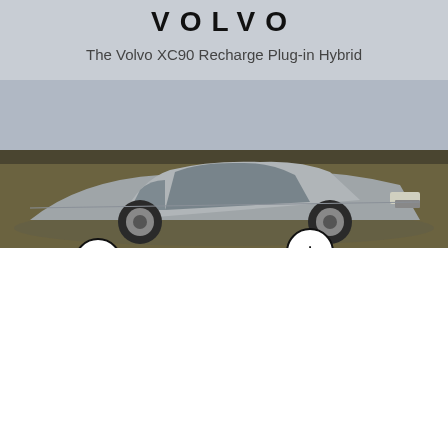[Figure (photo): Volvo logo text at top, followed by 'The Volvo XC90 Recharge Plug-in Hybrid' subtitle, and a photo of a silver Volvo XC90 SUV driving through a field with three circular plus-button hotspots overlaid on the image]
We Use Cookies and Related Technology
Slate and our partners use cookies and related technology to deliver relevant advertising on our site, in emails and across the Internet. We and our partners also use these technologies to personalize content and perform site analytics. For more information, see our terms and privacy policy. Privacy Policy
OK